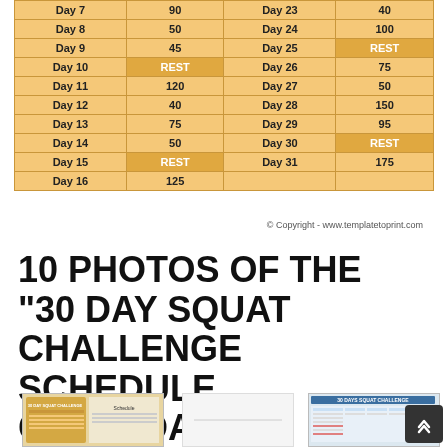| Day | Squats | Day | Squats |
| --- | --- | --- | --- |
| Day 7 | 90 | Day 23 | 40 |
| Day 8 | 50 | Day 24 | 100 |
| Day 9 | 45 | Day 25 | REST |
| Day 10 | REST | Day 26 | 75 |
| Day 11 | 120 | Day 27 | 50 |
| Day 12 | 40 | Day 28 | 150 |
| Day 13 | 75 | Day 29 | 95 |
| Day 14 | 50 | Day 30 | REST |
| Day 15 | REST | Day 31 | 175 |
| Day 16 | 125 |  |  |
© Copyright - www.templatetoprint.com
10 PHOTOS OF THE "30 DAY SQUAT CHALLENGE SCHEDULE CALENDAR"
[Figure (photo): Thumbnail of 30 day squat challenge schedule]
[Figure (photo): Blank/faded thumbnail]
[Figure (photo): Thumbnail of 30 days squat challenge table]